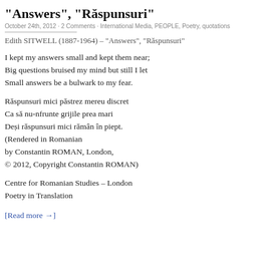“Answers”, “Răspunsuri”
October 24th, 2012 · 2 Comments · International Media, PEOPLE, Poetry, quotations
Edith SITWELL (1887-1964) – “Answers”, “Răspunsuri”
I kept my answers small and kept them near;
Big questions bruised my mind but still I let
Small answers be a bulwark to my fear.
Răspunsuri mici păstrez mereu discret
Ca să nu-nfrunte grijile prea mari
Deşi răspunsuri mici răman în piept.
(Rendered in Romanian
by Constantin ROMAN, London,
© 2012, Copyright Constantin ROMAN)
Centre for Romanian Studies – London
Poetry in Translation
[Read more →]